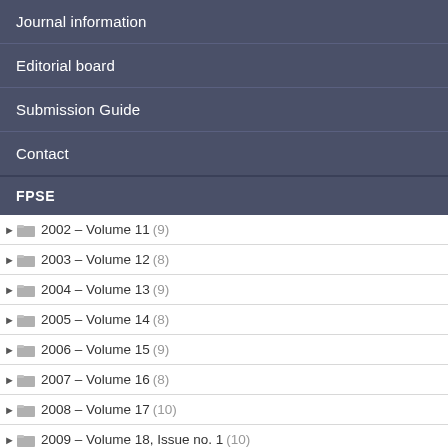Journal information
Editorial board
Submission Guide
Contact
FPSE
2002 – Volume 11 (9)
2003 – Volume 12 (8)
2004 – Volume 13 (9)
2005 – Volume 14 (8)
2006 – Volume 15 (9)
2007 – Volume 16 (8)
2008 – Volume 17 (10)
2009 – Volume 18, Issue no. 1 (10)
2009 – Volume 18, Issue no. 2 (8)